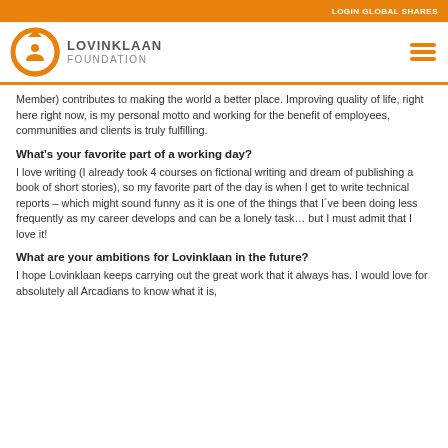LOGIN GLOBAL SHARES
[Figure (logo): Lovinklaan Foundation logo with orange circular icon and text]
Member) contributes to making the world a better place. Improving quality of life, right here right now, is my personal motto and working for the benefit of employees, communities and clients is truly fulfilling.
What's your favorite part of a working day?
I love writing (I already took 4 courses on fictional writing and dream of publishing a book of short stories), so my favorite part of the day is when I get to write technical reports – which might sound funny as it is one of the things that I´ve been doing less frequently as my career develops and can be a lonely task… but I must admit that I love it!
What are your ambitions for Lovinklaan in the future?
I hope Lovinklaan keeps carrying out the great work that it always has. I would love for absolutely all Arcadians to know what it is,